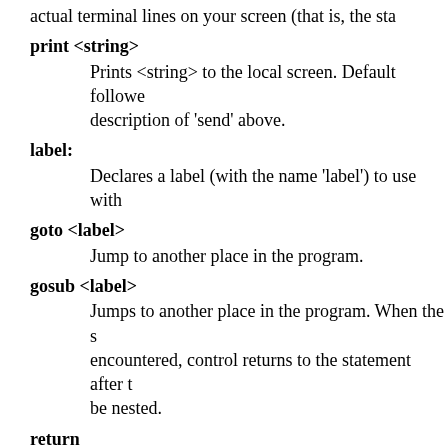actual terminal lines on your screen (that is, the sta
print <string>
    Prints <string> to the local screen. Default followed by description of 'send' above.
label:
    Declares a label (with the name 'label') to use with
goto <label>
    Jump to another place in the program.
gosub <label>
    Jumps to another place in the program. When the s encountered, control returns to the statement after t be nested.
return
    Return from a gosub.
! <command>
    Runs a shell for you in which 'command' is execute variable '$?' is set to the exit status of this comman subsequently test it using 'if'.
!< <command>
    Runs a shell for you in which 'command' is execute